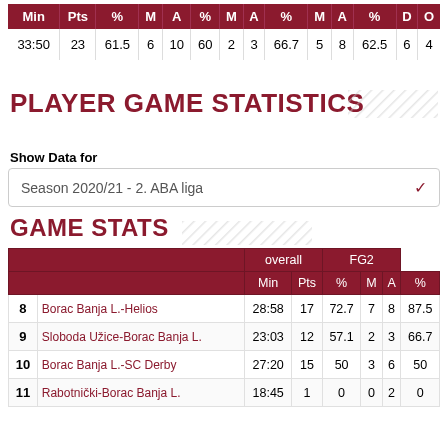| Min | Pts | % | M | A | % | M | A | % | M | A | % | D | O |
| --- | --- | --- | --- | --- | --- | --- | --- | --- | --- | --- | --- | --- | --- |
| 33:50 | 23 | 61.5 | 6 | 10 | 60 | 2 | 3 | 66.7 | 5 | 8 | 62.5 | 6 | 4 |
PLAYER GAME STATISTICS
Show Data for
Season 2020/21 - 2. ABA liga
GAME STATS
|  | Min | Pts | % | M | A | % |
| --- | --- | --- | --- | --- | --- | --- |
| 8  Borac Banja L.-Helios | 28:58 | 17 | 72.7 | 7 | 8 | 87.5 |
| 9  Sloboda Užice-Borac Banja L. | 23:03 | 12 | 57.1 | 2 | 3 | 66.7 |
| 10  Borac Banja L.-SC Derby | 27:20 | 15 | 50 | 3 | 6 | 50 |
| 11  Rabotnički-Borac Banja L. | 18:45 | 1 | 0 | 0 | 2 | 0 |